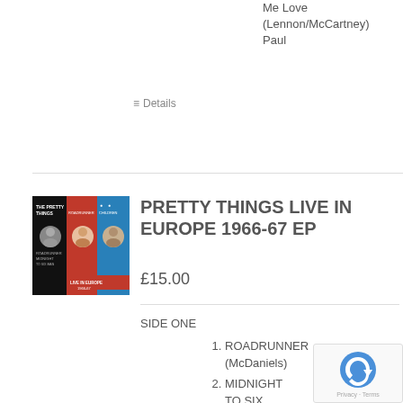Me Love (Lennon/McCartney) Paul
Details
[Figure (photo): Album cover for Pretty Things Live In Europe 1966-67 EP, showing stacked record sleeves with black, red, and blue sections and band photos]
PRETTY THINGS LIVE IN EUROPE 1966-67 EP
£15.00
SIDE ONE
ROADRUNNER (McDaniels)
MIDNIGHT TO SIX